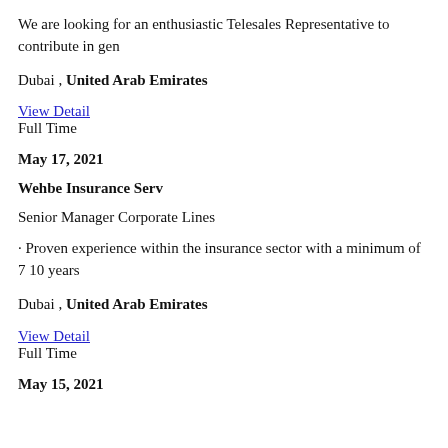We are looking for an enthusiastic Telesales Representative to contribute in gen
Dubai , United Arab Emirates
View Detail
Full Time
May 17, 2021
Wehbe Insurance Serv
Senior Manager Corporate Lines
· Proven experience within the insurance sector with a minimum of 7 10 years
Dubai , United Arab Emirates
View Detail
Full Time
May 15, 2021